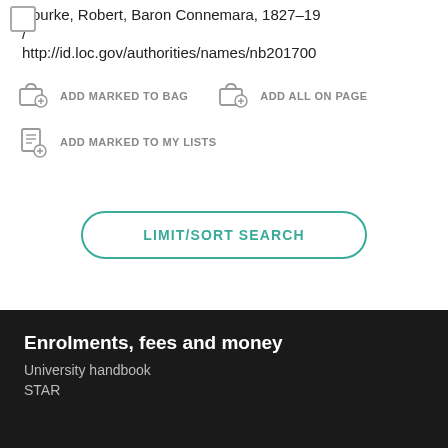Bourke, Robert, Baron Connemara, 1827-19... / http://id.loc.gov/authorities/names/nb201700...
ADD MARKED TO BAG
ADD ALL ON PAGE
ADD MARKED TO MY LISTS
LIMIT/SORT SEARCH
Enrolments, fees and money
University handbook
STAR